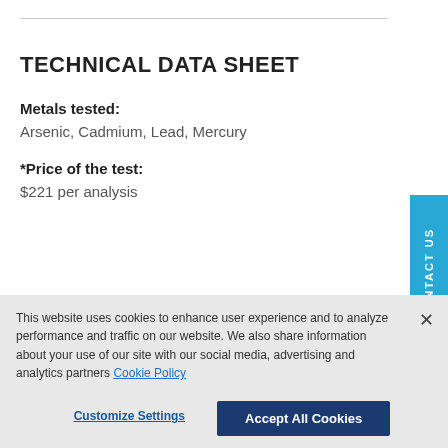TECHNICAL DATA SHEET
Metals tested:
Arsenic, Cadmium, Lead, Mercury
*Price of the test:
$221 per analysis
Acceptable Matrices:
This website uses cookies to enhance user experience and to analyze performance and traffic on our website. We also share information about your use of our site with our social media, advertising and analytics partners Cookie Policy
Customize Settings
Accept All Cookies